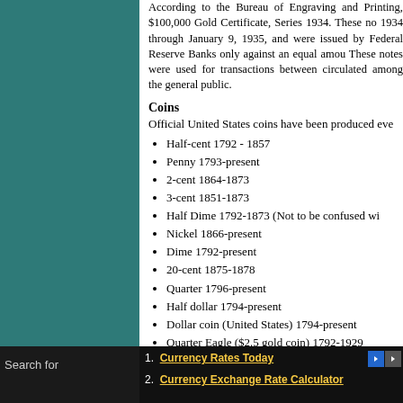According to the Bureau of Engraving and Printing, $100,000 Gold Certificate, Series 1934. These notes were printed from December 18, 1934 through January 9, 1935, and were issued by the Federal Reserve Banks only against an equal amount. These notes were used for transactions between banks and were not circulated among the general public.
Coins
Official United States coins have been produced ever since
Half-cent 1792 - 1857
Penny 1793-present
2-cent 1864-1873
3-cent 1851-1873
Half Dime 1792-1873 (Not to be confused with
Nickel 1866-present
Dime 1792-present
20-cent 1875-1878
Quarter 1796-present
Half dollar 1794-present
Dollar coin (United States) 1794-present
Quarter Eagle ($2.5 gold coin) 1792-1929
Three-dollar piece 1854-1889
Half Eagle ($5 gold coin) 1795-1929
Eagle ($10 gold coin) 1795-1929
Double Eagle ($20 gold coin) 1850-1933
Collector coins for which everyday transactions is no
Currency Rates Today
Currency Exchange Rate Calculator
Search for